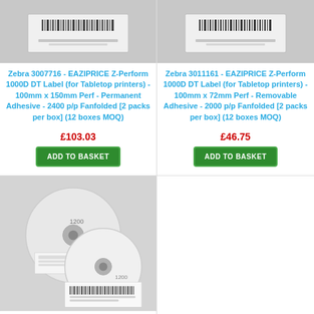[Figure (photo): Product image of a label/barcode sticker on white background - top left]
Zebra 3007716 - EAZIPRICE Z-Perform 1000D DT Label (for Tabletop printers) - 100mm x 150mm Perf - Permanent Adhesive - 2400 p/p Fanfolded [2 packs per box] (12 boxes MOQ)
£103.03
ADD TO BASKET
[Figure (photo): Product image of a label/barcode sticker on white background - top right]
Zebra 3011161 - EAZIPRICE Z-Perform 1000D DT Label (for Tabletop printers) - 100mm x 72mm Perf - Removable Adhesive - 2000 p/p Fanfolded [2 packs per box] (12 boxes MOQ)
£46.75
ADD TO BASKET
[Figure (photo): Photo of two white label rolls (Zebra label rolls) stacked, showing barcodes and text on the labels]